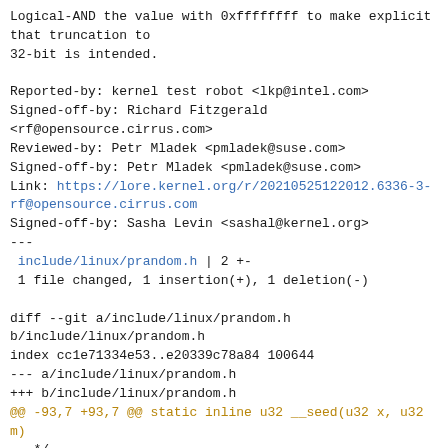Logical-AND the value with 0xffffffff to make explicit
that truncation to
32-bit is intended.

Reported-by: kernel test robot <lkp@intel.com>
Signed-off-by: Richard Fitzgerald
<rf@opensource.cirrus.com>
Reviewed-by: Petr Mladek <pmladek@suse.com>
Signed-off-by: Petr Mladek <pmladek@suse.com>
Link: https://lore.kernel.org/r/20210525122012.6336-3-rf@opensource.cirrus.com
Signed-off-by: Sasha Levin <sashal@kernel.org>
---
 include/linux/prandom.h | 2 +-
 1 file changed, 1 insertion(+), 1 deletion(-)

diff --git a/include/linux/prandom.h
b/include/linux/prandom.h
index cc1e71334e53..e20339c78a84 100644
--- a/include/linux/prandom.h
+++ b/include/linux/prandom.h
@@ -93,7 +93,7 @@ static inline u32 __seed(u32 x, u32 m)
   */
 static inline void prandom_seed_state(struct rnd_state
*state, u64 seed)
 {
-        u32 i = (seed >> 32) ^ (seed << 10) ^ seed;
+        u32 i = ((seed >> 32) ^ (seed << 10) ^ seed) &
0xffffffffUL;